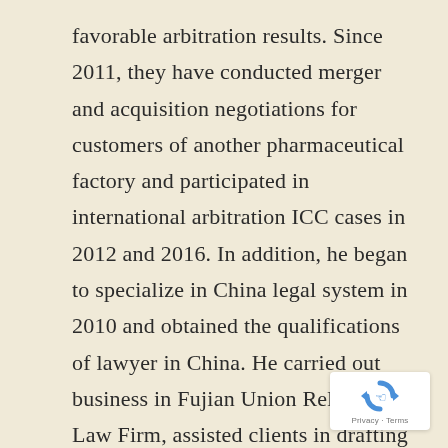favorable arbitration results. Since 2011, they have conducted merger and acquisition negotiations for customers of another pharmaceutical factory and participated in international arbitration ICC cases in 2012 and 2016. In addition, he began to specialize in China legal system in 2010 and obtained the qualifications of lawyer in China. He carried out business in Fujian Union Reliance Law Firm, assisted clients in drafting legal plans for China investment and franchise chains, and was responsible for the consultation of China laws and taxation.
[Figure (logo): reCAPTCHA badge with circular arrow logo and 'Privacy - Terms' footer text]